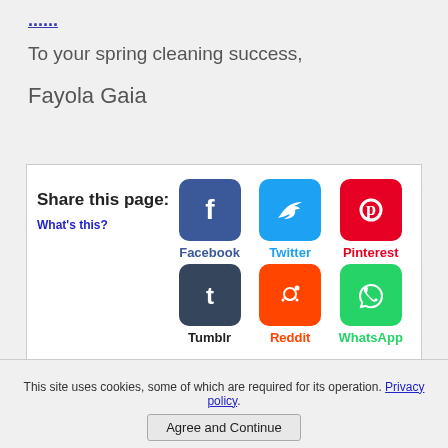...
To your spring cleaning success,
Fayola Gaia
[Figure (infographic): Share this page section with icons for Facebook, Twitter, Pinterest, Tumblr, Reddit, WhatsApp and a 'What's this?' link]
This site uses cookies, some of which are required for its operation. Privacy policy.
Agree and Continue